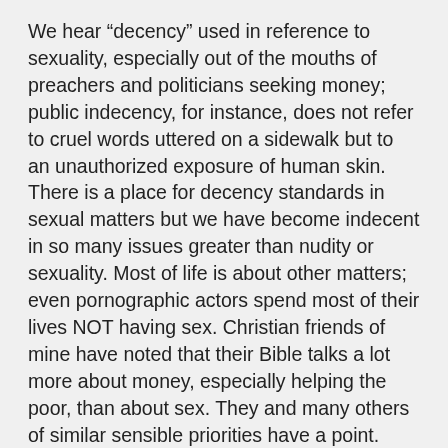We hear “decency” used in reference to sexuality, especially out of the mouths of preachers and politicians seeking money; public indecency, for instance, does not refer to cruel words uttered on a sidewalk but to an unauthorized exposure of human skin. There is a place for decency standards in sexual matters but we have become indecent in so many issues greater than nudity or sexuality. Most of life is about other matters; even pornographic actors spend most of their lives NOT having sex. Christian friends of mine have noted that their Bible talks a lot more about money, especially helping the poor, than about sex. They and many others of similar sensible priorities have a point.
It is far easier to be indecent to strangers and outsiders, what some sociologists and social activists call, awkwardly, “the other.” I fear that we have become a society where there is no “society”, rather a